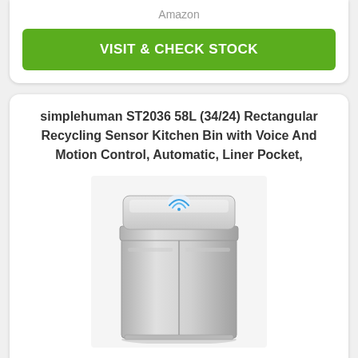Amazon
VISIT & CHECK STOCK
simplehuman ST2036 58L (34/24) Rectangular Recycling Sensor Kitchen Bin with Voice And Motion Control, Automatic, Liner Pocket,
[Figure (photo): Stainless steel rectangular dual-compartment recycling sensor kitchen bin with a flat lid featuring a blue sensor light on top]
£299.95 (NEW)